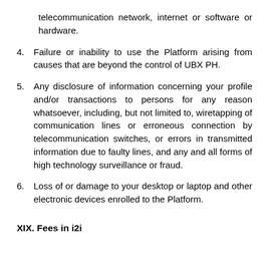telecommunication network, internet or software or hardware.
4. Failure or inability to use the Platform arising from causes that are beyond the control of UBX PH.
5. Any disclosure of information concerning your profile and/or transactions to persons for any reason whatsoever, including, but not limited to, wiretapping of communication lines or erroneous connection by telecommunication switches, or errors in transmitted information due to faulty lines, and any and all forms of high technology surveillance or fraud.
6. Loss of or damage to your desktop or laptop and other electronic devices enrolled to the Platform.
XIX. Fees in i2i